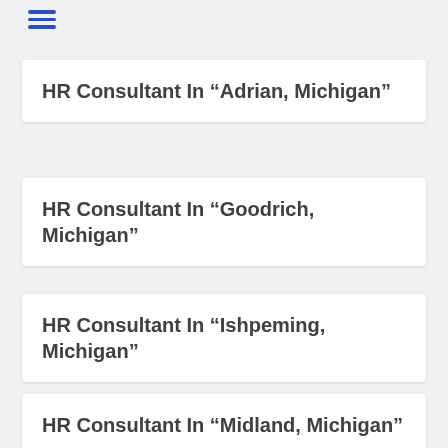≡
HR Consultant In “Adrian, Michigan”
HR Consultant In “Goodrich, Michigan”
HR Consultant In “Ishpeming, Michigan”
HR Consultant In “Midland, Michigan”